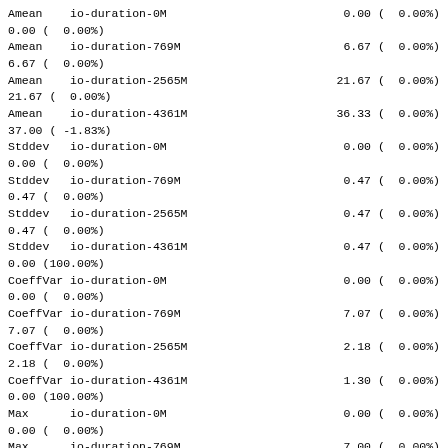Amean  io-duration-0M    0.00 (  0.00%)
0.00 (  0.00%)
Amean  io-duration-769M    6.67 (  0.00%)
6.67 (  0.00%)
Amean  io-duration-2565M    21.67 (  0.00%)
21.67 (  0.00%)
Amean  io-duration-4361M    36.33 (  0.00%)
37.00 ( -1.83%)
Stddev  io-duration-0M    0.00 (  0.00%)
0.00 (  0.00%)
Stddev  io-duration-769M    0.47 (  0.00%)
0.47 (  0.00%)
Stddev  io-duration-2565M    0.47 (  0.00%)
0.47 (  0.00%)
Stddev  io-duration-4361M    0.47 (  0.00%)
0.00 (100.00%)
CoeffVar io-duration-0M    0.00 (  0.00%)
0.00 (  0.00%)
CoeffVar io-duration-769M    7.07 (  0.00%)
7.07 (  0.00%)
CoeffVar io-duration-2565M    2.18 (  0.00%)
2.18 (  0.00%)
CoeffVar io-duration-4361M    1.30 (  0.00%)
0.00 (100.00%)
Max      io-duration-0M    0.00 (  0.00%)
0.00 (  0.00%)
Max      io-duration-769M    7.00 (  0.00%)
7.00 (  0.00%)
Max      io-duration-2565M    22.00 (  0.00%)
22.00 (  0.00%)
Max      io-duration-4361M    37.00 (  0.00%)